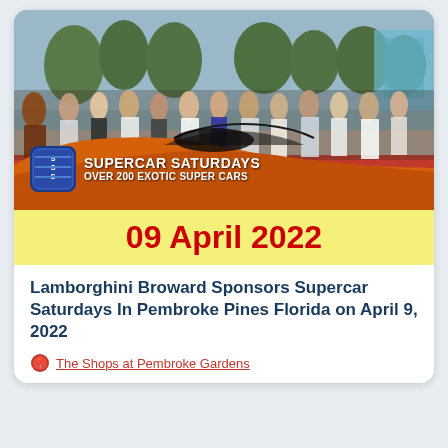[Figure (photo): Crowd of people at a supercar show event on a street, with a prominent orange supercar in the foreground. A badge overlay reads 'SUPERCAR SATURDAYS - OVER 200 EXOTIC SUPER CARS' with a logo icon.]
09 April 2022
Lamborghini Broward Sponsors Supercar Saturdays In Pembroke Pines Florida on April 9, 2022
The Shops at Pembroke Gardens